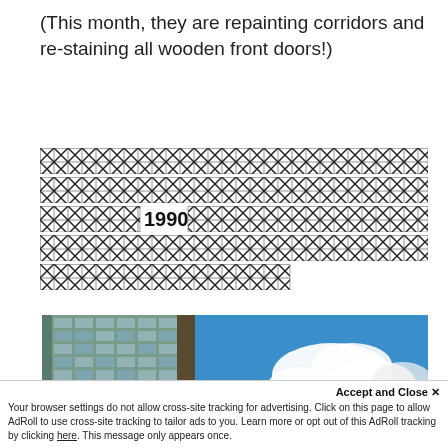(This month, they are repainting corridors and re-staining all wooden front doors!)
[Figure (other): Five lines of heavily redacted text rendered as X-pattern crosshatch blocks, with the year '1990' visible in the third line.]
[Figure (photo): Photograph of a modern high-rise building facade on the left with glass windows, next to a bright blue sky with white clouds on the right.]
Accept and Close ✕
Your browser settings do not allow cross-site tracking for advertising. Click on this page to allow AdRoll to use cross-site tracking to tailor ads to you. Learn more or opt out of this AdRoll tracking by clicking here. This message only appears once.